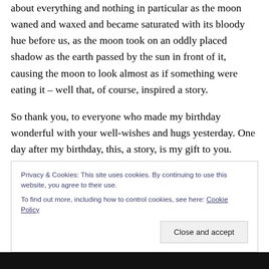about everything and nothing in particular as the moon waned and waxed and became saturated with its bloody hue before us, as the moon took on an oddly placed shadow as the earth passed by the sun in front of it, causing the moon to look almost as if something were eating it – well that, of course, inspired a story.
So thank you, to everyone who made my birthday wonderful with your well-wishes and hugs yesterday. One day after my birthday, this, a story, is my gift to you.
Privacy & Cookies: This site uses cookies. By continuing to use this website, you agree to their use. To find out more, including how to control cookies, see here: Cookie Policy